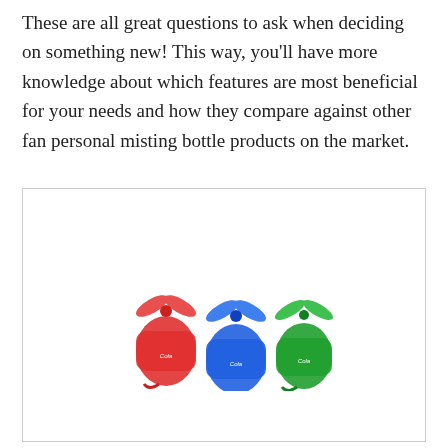These are all great questions to ask when deciding on something new! This way, you'll have more knowledge about which features are most beneficial for your needs and how they compare against other fan personal misting bottle products on the market.
[Figure (photo): Three colorful personal misting fan bottles in red, blue, and green, each with a small propeller fan on top, branded with a logo.]